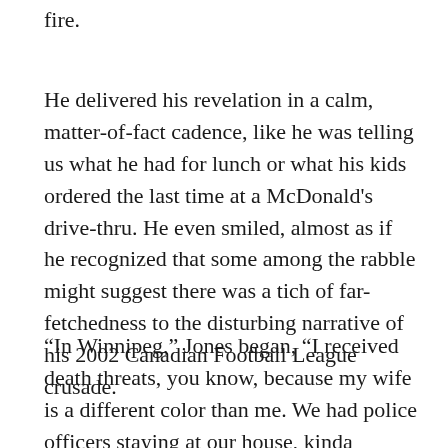fire.
He delivered his revelation in a calm, matter-of-fact cadence, like he was telling us what he had for lunch or what his kids ordered the last time at a McDonald's drive-thru. He even smiled, almost as if he recognized that some among the rabble might suggest there was a tich of far-fetchedness to the disturbing narrative of his 2002 Canadian Football League crusade.
“In Winnipeg,” Jones began, “I received death threats, you know, because my wife is a different color than me. We had police officers staying at our house, kinda patrolling our